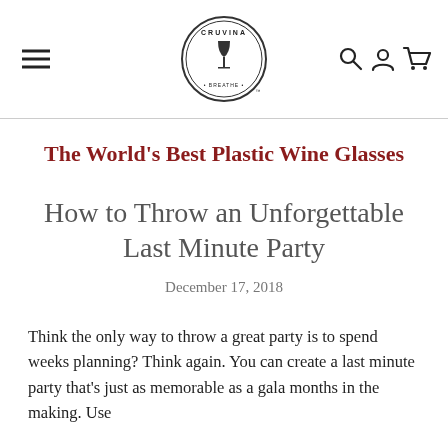CRUVINA [logo] [hamburger menu] [search] [account] [cart]
The World's Best Plastic Wine Glasses
How to Throw an Unforgettable Last Minute Party
December 17, 2018
Think the only way to throw a great party is to spend weeks planning? Think again. You can create a last minute party that's just as memorable as a gala months in the making. Use